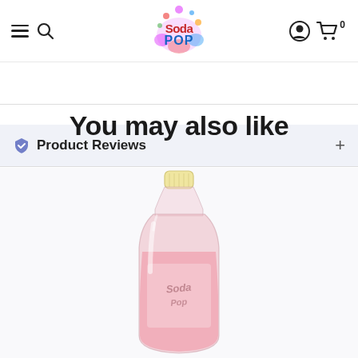SodaPop shop navigation bar with hamburger menu, search icon, logo, user icon, and cart (0)
Product Reviews
You may also like
[Figure (photo): A pink/rose-colored carbonated soft drink in a clear plastic bottle with a cream/yellow cap, partially visible, product label with stylized text.]